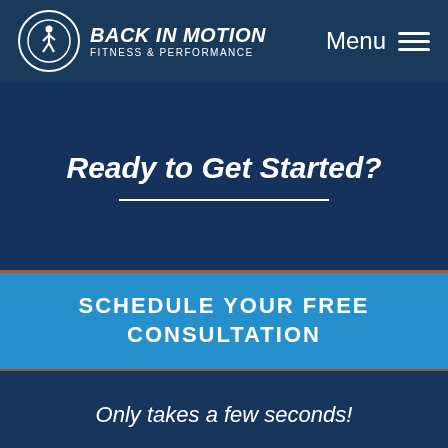[Figure (logo): Back In Motion Fitness & Performance logo with running figure in circle and text]
Menu
Ready to Get Started?
SCHEDULE YOUR FREE CONSULTATION
Only takes a few seconds!
Reactive St...
Leave a message